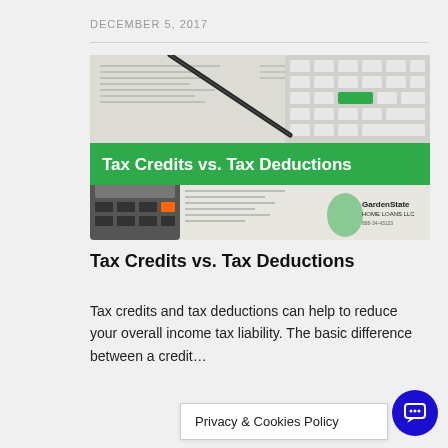DECEMBER 5, 2017
[Figure (photo): Photo showing tax forms (1040), a calculator, a keyboard, and a pen, with a green banner overlay reading 'Tax Credits vs. Tax Deductions' and a Garden State Home Loans logo in the corner.]
Tax Credits vs. Tax Deductions
Tax credits and tax deductions can help to reduce your overall income tax liability. The basic difference between a credit…
Privacy & Cookies Policy